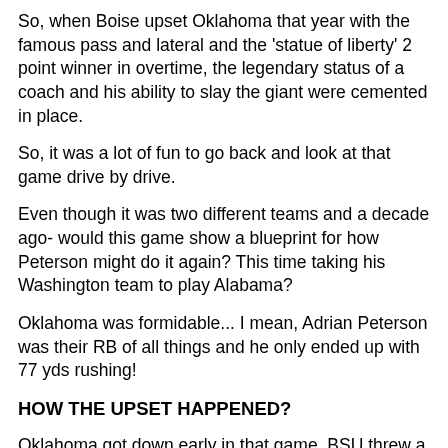So, when Boise upset Oklahoma that year with the famous pass and lateral and the 'statue of liberty' 2 point winner in overtime, the legendary status of a coach and his ability to slay the giant were cemented in place.
So, it was a lot of fun to go back and look at that game drive by drive.
Even though it was two different teams and a decade ago- would this game show a blueprint for how Peterson might do it again? This time taking his Washington team to play Alabama?
Oklahoma was formidable... I mean, Adrian Peterson was their RB of all things and he only ended up with 77 yds rushing!
HOW THE UPSET HAPPENED?
Oklahoma got down early in that game. BSU threw a double move on 1st down on their first drive on 1and 10 and then recovered an Oklahoma fumble on the +9 going in and it was